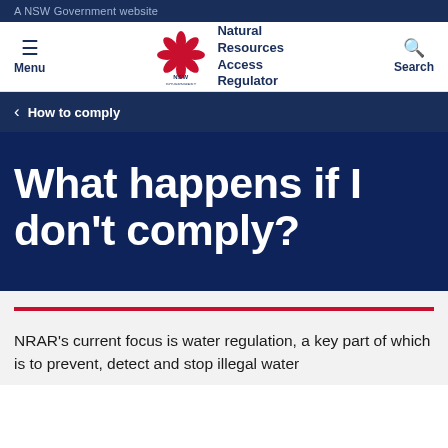A NSW Government website
[Figure (logo): NSW Government logo with red waratah flower and site navigation showing Menu, NSW Government Natural Resources Access Regulator branding, and Search]
How to comply
What happens if I don't comply?
NRAR's current focus is water regulation, a key part of which is to prevent, detect and stop illegal water